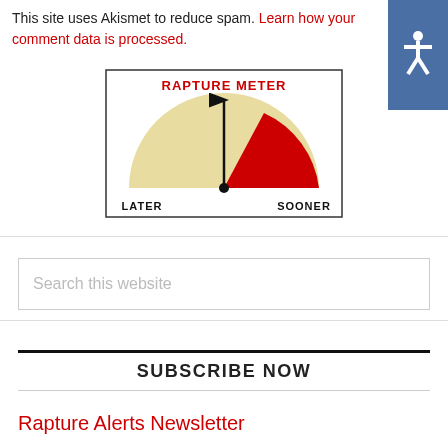This site uses Akismet to reduce spam. Learn how your comment data is processed.
[Figure (other): Rapture Meter gauge showing a semicircle with a needle pointing upward-right toward the red SOONER zone. Labels: RAPTURE METER (top, red), LATER (left), SOONER (right).]
Search this website
SUBSCRIBE NOW
Rapture Alerts Newsletter